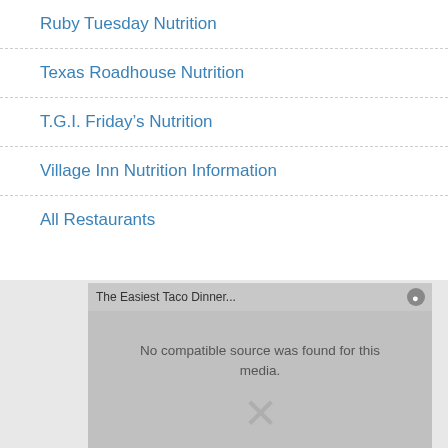Ruby Tuesday Nutrition
Texas Roadhouse Nutrition
T.G.I. Friday's Nutrition
Village Inn Nutrition Information
All Restaurants
[Figure (screenshot): Video player overlay showing 'The Easiest Taco Dinner...' title with error message 'No compatible source was found for this media.' and an X close/error icon on a grey background.]